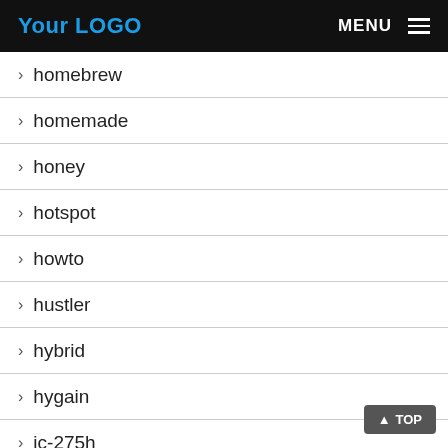Your LOGO | MENU
> homebrew
> homemade
> honey
> hotspot
> howto
> hustler
> hybrid
> hygain
> ic-275h
> ic-7000
> ic-706mkiig
> ic-7200